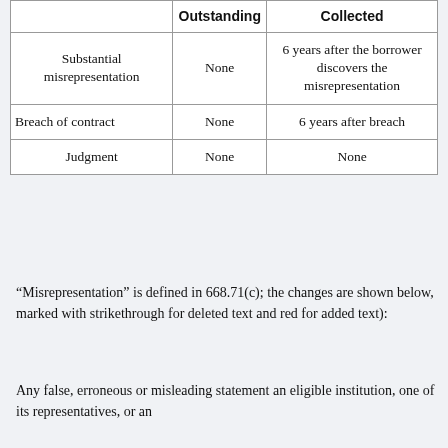|  | Outstanding | Collected |
| --- | --- | --- |
| Substantial misrepresentation | None | 6 years after the borrower discovers the misrepresentation |
| Breach of contract | None | 6 years after breach |
| Judgment | None | None |
“Misrepresentation” is defined in 668.71(c); the changes are shown below, marked with strikethrough for deleted text and red for added text):
Any false, erroneous or misleading statement an eligible institution, one of its representatives, or an